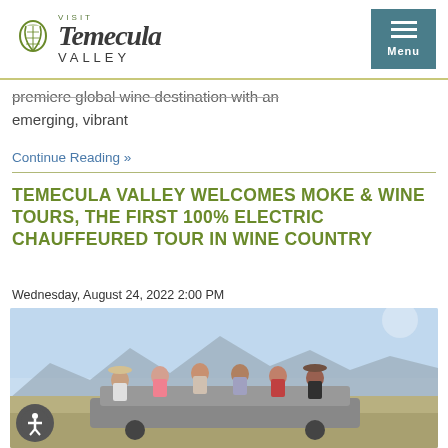Visit Temecula Valley — Menu
premiere global wine destination with an emerging, vibrant
Continue Reading »
TEMECULA VALLEY WELCOMES MOKE & WINE TOURS, THE FIRST 100% ELECTRIC CHAUFFEURED TOUR IN WINE COUNTRY
Wednesday, August 24, 2022 2:00 PM
[Figure (photo): Group of people standing in or on an open-air electric vehicle in a wine country landscape with mountains and dry grass in the background.]